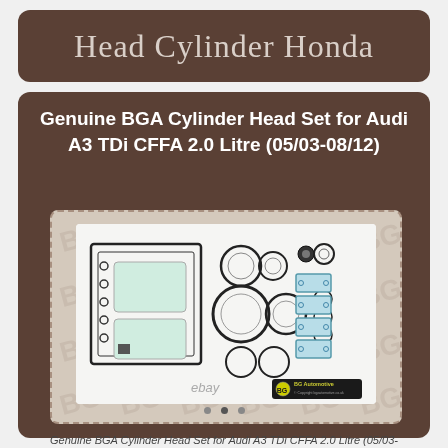Head Cylinder Honda
Genuine BGA Cylinder Head Set for Audi A3 TDi CFFA 2.0 Litre (05/03-08/12)
[Figure (photo): Product photo of a Genuine BGA Cylinder Head Gasket Set showing various gaskets, seals and rings laid out, with eBay watermark and BG Automotive copyright logo. Background has repeating BG Automotive watermark pattern.]
Genuine BGA Cylinder Head Set for Audi A3 TDi CFFA 2.0 Litre (05/03-